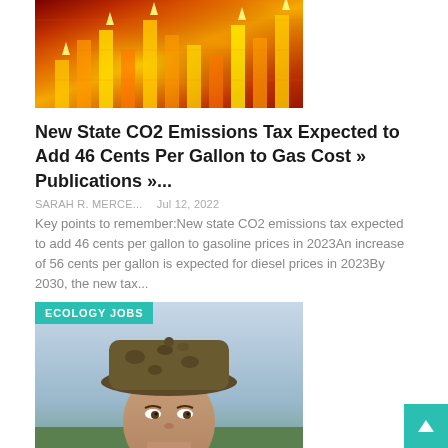[Figure (photo): Abstract red, orange and yellow financial/data visualization image with glowing arrows and bars on a dark background]
New State CO2 Emissions Tax Expected to Add 46 Cents Per Gallon to Gas Cost » Publications »...
SARAH R. MERCE...   Jul 12, 2022
Key points to remember:New state CO2 emissions tax expected to add 46 cents per gallon to gasoline prices in 2023An increase of 56 cents per gallon is expected for diesel prices in 2023By 2030, the new tax...
[Figure (photo): Man wearing a camouflage cap looking into camera, outdoors with sky background. ECOLOGY JOBS tag overlay.]
Botanical paradox: Joey Santore connects plants and people
SARAH R. MERCE...   Jul 11, 2022